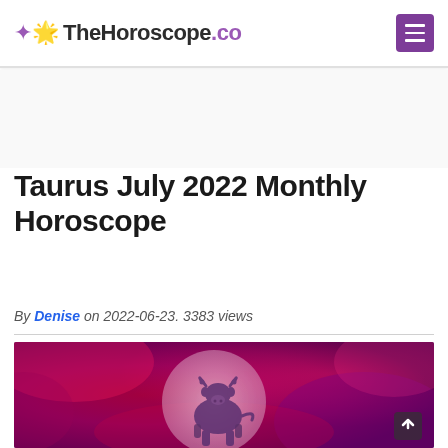TheHoroscope.co
Taurus July 2022 Monthly Horoscope
By Denise on 2022-06-23. 3383 views
[Figure (photo): Taurus zodiac sign illustration — a bull silhouette inside a translucent white circle against a vivid red and purple abstract background]